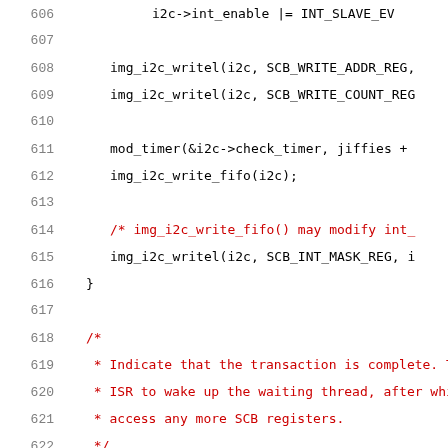[Figure (screenshot): Source code listing showing C code lines 606-626, with line numbers in gray, comments in red, keywords in blue, and code in black monospace font.]